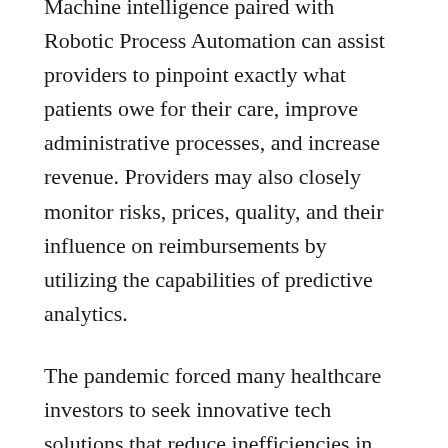Machine intelligence paired with Robotic Process Automation can assist providers to pinpoint exactly what patients owe for their care, improve administrative processes, and increase revenue. Providers may also closely monitor risks, prices, quality, and their influence on reimbursements by utilizing the capabilities of predictive analytics.
The pandemic forced many healthcare investors to seek innovative tech solutions that reduce inefficiencies in the often tedious and manual revenue cycle management process. Due to canceled or postponed treatments, increased expenses from equipment and supply shortages, the growth in uninsured patients, and the high costs of treating COVID-19 patients, hospitals and health care providers lost $202.6 billion last year. As a result, providers must protect every dollar, and